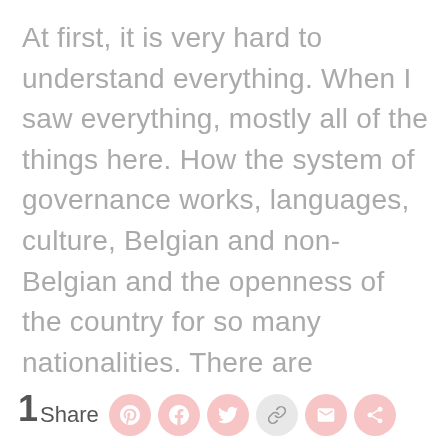At first, it is very hard to understand everything. When I saw everything, mostly all of the things here. How the system of governance works, languages, culture, Belgian and non-Belgian and the openness of the country for so many nationalities. There are limitations and also ways of making things happened here. I tried to see things now as an opportunity rather than obstacles.
1 Share [social share buttons]